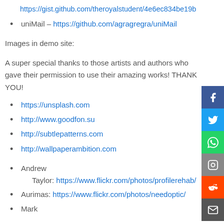https://gist.github.com/theroyalstudent/4e6ec834be19b...
uniMail – https://github.com/agragregra/uniMail
Images in demo site:
A super special thanks to those artists and authors who gave their permission to use their amazing works! THANK YOU!
https://unsplash.com
http://www.goodfon.su
http://subtlepatterns.com
http://wallpaperambition.com
Andrew Taylor: https://www.flickr.com/photos/profilerehab/
Aurimas: https://www.flickr.com/photos/needoptic/
Mark